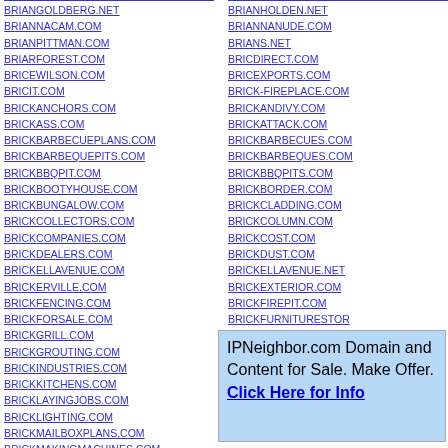BRIANGOLDBERG.NET
BRIANNACAM.COM
BRIANPITTMAN.COM
BRIARFOREST.COM
BRICEWILSON.COM
BRICIT.COM
BRICKANCHORS.COM
BRICKASS.COM
BRICKBARBECUEPLANS.COM
BRICKBARBEQUEPITS.COM
BRICKBBQPIT.COM
BRICKBOOTYHOUSE.COM
BRICKBUNGALOW.COM
BRICKCOLLECTORS.COM
BRICKCOMPANIES.COM
BRICKDEALERS.COM
BRICKELLAVENUE.COM
BRICKERVILLE.COM
BRICKFENCING.COM
BRICKFORSALE.COM
BRICKGRILL.COM
BRICKGROUTING.COM
BRICKINDUSTRIES.COM
BRICKKITCHENS.COM
BRICKLAYINGJOBS.COM
BRICKLIGHTING.COM
BRICKMAILBOXPLANS.COM
BRICKMAKINGMACHINES.COM
BRIANHOLDEN.NET
BRIANNANUDE.COM
BRIANS.NET
BRICDIRECT.COM
BRICEXPORTS.COM
BRICK-FIREPLACE.COM
BRICKANDIVY.COM
BRICKATTACK.COM
BRICKBARBECUES.COM
BRICKBARBEQUES.COM
BRICKBBQPITS.COM
BRICKBORDER.COM
BRICKCLADDING.COM
BRICKCOLUMN.COM
BRICKCOST.COM
BRICKDUST.COM
BRICKELLAVENUE.NET
BRICKEXTERIOR.COM
BRICKFIREPIT.COM
BRICKFURNITURESTOR
BRICKGRILLPLANS.COM
BRICKHANGERS.COM
BRICKINDUSTRY.COM
IPNeighbor.com Domain and Content for Sale. Make Offer. Click Here for Info